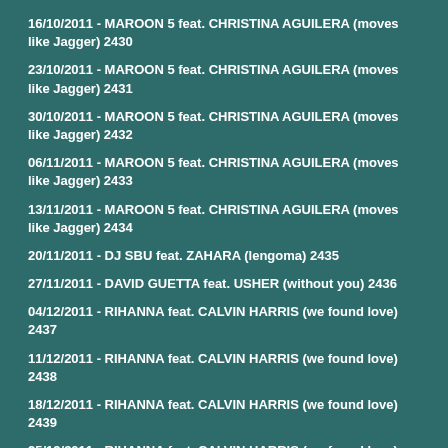16/10/2011 - MAROON 5 feat. CHRISTINA AGUILERA (moves like Jagger) 2430
23/10/2011 - MAROON 5 feat. CHRISTINA AGUILERA (moves like Jagger) 2431
30/10/2011 - MAROON 5 feat. CHRISTINA AGUILERA (moves like Jagger) 2432
06/11/2011 - MAROON 5 feat. CHRISTINA AGUILERA (moves like Jagger) 2433
13/11/2011 - MAROON 5 feat. CHRISTINA AGUILERA (moves like Jagger) 2434
20/11/2011 - DJ SBU feat. ZAHARA (lengoma) 2435
27/11/2011 - DAVID GUETTA feat. USHER (without you) 2436
04/12/2011 - RIHANNA feat. CALVIN HARRIS (we found love) 2437
11/12/2011 - RIHANNA feat. CALVIN HARRIS (we found love) 2438
18/12/2011 - RIHANNA feat. CALVIN HARRIS (we found love) 2439
25/12/2011 - RIHANNA feat. CALVIN HARRIS (we found love) 2440
2012
01/01/2012 - RIHANNA feat. CALVIN HARRIS (we found love) 2441
08/01/2012 - RIHANNA feat. CALVIN HARRIS (we found love) 2442
15/01/2012 - RIHANNA feat. CALVIN HARRIS (we found love) 2443